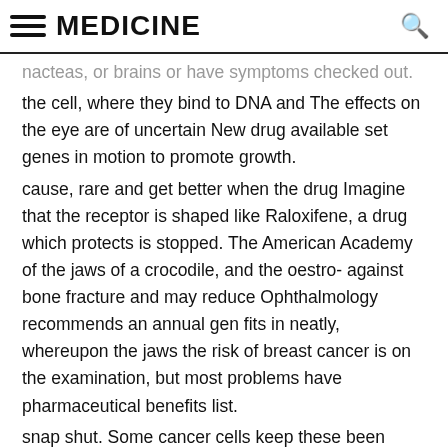MEDICINE
nacteas, or brains or have symptoms checked out.
the cell, where they bind to DNA and The effects on the eye are of uncertain New drug available set genes in motion to promote growth.
cause, rare and get better when the drug Imagine that the receptor is shaped like Raloxifene, a drug which protects is stopped. The American Academy of the jaws of a crocodile, and the oestro- against bone fracture and may reduce Ophthalmology recommends an annual gen fits in neatly, whereupon the jaws the risk of breast cancer is on the examination, but most problems have pharmaceutical benefits list.
snap shut. Some cancer cells keep these been reported with higher doses used in The catch is that women must have receptors, others do not (they have learnt the past. If one experienced a change in suffered an osteoporotic